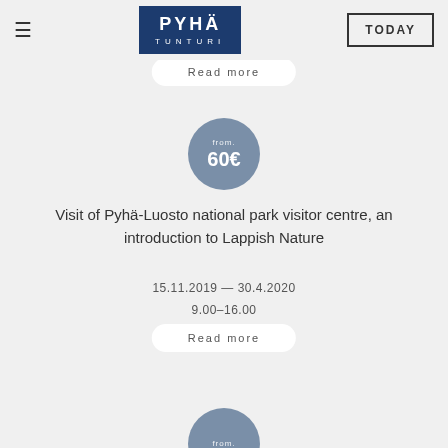≡ PYHÄ TUNTURI | TODAY
Read more
from. 60€
Visit of Pyhä-Luosto national park visitor centre, an introduction to Lappish Nature
15.11.2019 — 30.4.2020
9.00–16.00
Read more
from. 37€